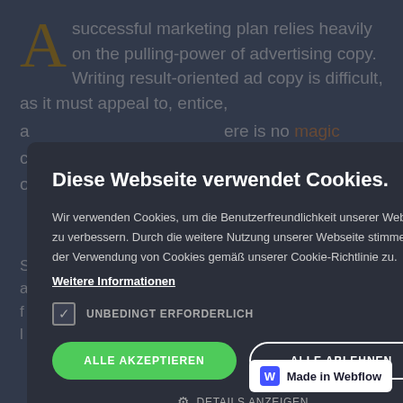A successful marketing plan relies heavily on the pulling-power of advertising copy. Writing result-oriented ad copy is difficult, as it must appeal to, entice, a... ...there is no magic ...d on a number o... ...aphic, even the...
...UR
S... ...nning piece of a... ...lls? The f... ...thinking and l...
[Figure (screenshot): Cookie consent modal dialog over a website background. Modal title: 'Diese Webseite verwendet Cookies.' Body text in German about cookie usage and policy. Contains a checkbox labeled 'UNBEDINGT ERFORDERLICH', buttons 'ALLE AKZEPTIEREN' (green) and 'ALLE ABLEHNEN' (outlined), and a 'DETAILS ANZEIGEN' option. Close button (X) in top right. Background shows article text. Bottom right: 'Made in Webflow' badge.]
Diese Webseite verwendet Cookies.
Wir verwenden Cookies, um die Benutzerfreundlichkeit unserer Website zu verbessern. Durch die weitere Nutzung unserer Webseite stimmen Sie der Verwendung von Cookies gemäß unserer Cookie-Richtlinie zu.
Weitere Informationen
UNBEDINGT ERFORDERLICH
ALLE AKZEPTIEREN
ALLE ABLEHNEN
DETAILS ANZEIGEN
Made in Webflow